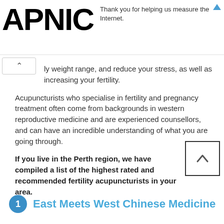[Figure (logo): APNIC logo in bold black text]
Thank you for helping us measure the Internet.
…ly weight range, and reduce your stress, as well as increasing your fertility.
Acupuncturists who specialise in fertility and pregnancy treatment often come from backgrounds in western reproductive medicine and are experienced counsellors, and can have an incredible understanding of what you are going through.
If you live in the Perth region, we have compiled a list of the highest rated and recommended fertility acupuncturists in your area.
1  East Meets West Chinese Medicine